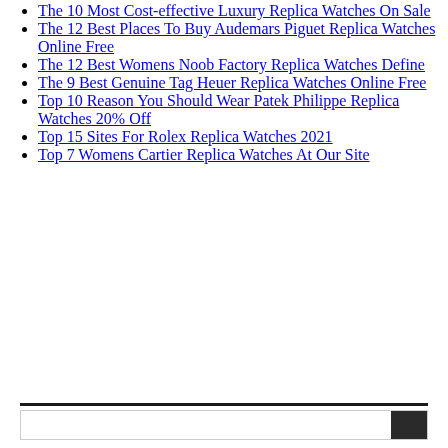The 10 Most Cost-effective Luxury Replica Watches On Sale
The 12 Best Places To Buy Audemars Piguet Replica Watches Online Free
The 12 Best Womens Noob Factory Replica Watches Define
The 9 Best Genuine Tag Heuer Replica Watches Online Free
Top 10 Reason You Should Wear Patek Philippe Replica Watches 20% Off
Top 15 Sites For Rolex Replica Watches 2021
Top 7 Womens Cartier Replica Watches At Our Site